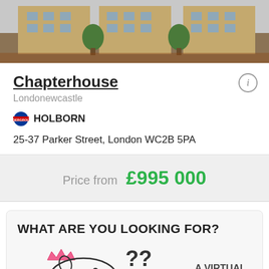[Figure (photo): Photo of a multi-storey brick apartment building (Chapterhouse) with trees in front]
Chapterhouse
Londonewcastle
HOLBORN
25-37 Parker Street, London WC2B 5PA
Price from £995 000
WHAT ARE YOU LOOKING FOR?
[Figure (illustration): Cartoon pig with pink crown and question marks, with text A VIRTUAL ASSISTANT]